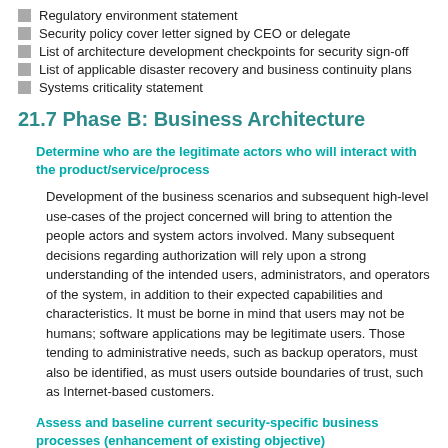Regulatory environment statement
Security policy cover letter signed by CEO or delegate
List of architecture development checkpoints for security sign-off
List of applicable disaster recovery and business continuity plans
Systems criticality statement
21.7 Phase B: Business Architecture
Determine who are the legitimate actors who will interact with the product/service/process
Development of the business scenarios and subsequent high-level use-cases of the project concerned will bring to attention the people actors and system actors involved. Many subsequent decisions regarding authorization will rely upon a strong understanding of the intended users, administrators, and operators of the system, in addition to their expected capabilities and characteristics. It must be borne in mind that users may not be humans; software applications may be legitimate users. Those tending to administrative needs, such as backup operators, must also be identified, as must users outside boundaries of trust, such as Internet-based customers.
Assess and baseline current security-specific business processes (enhancement of existing objective)
The business process regarding how actors are vetted as proper users of the system should be documented. Consideration should also be made for actors from outside the